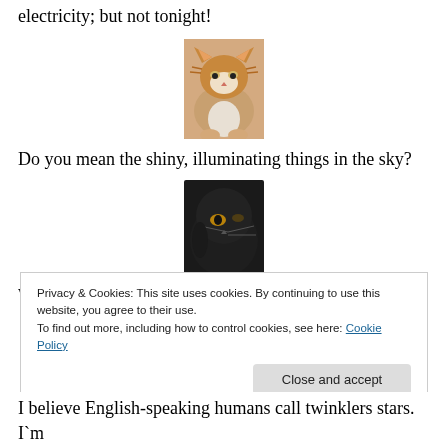electricity; but not tonight!
[Figure (photo): Orange and white cat sitting, looking downward]
Do you mean the shiny, illuminating things in the sky?
[Figure (photo): Dark/black cat with glowing eye looking sideways]
What else could I be talking about Sir Winston?
[Figure (photo): Orange cat photo partially visible]
Privacy & Cookies: This site uses cookies. By continuing to use this website, you agree to their use.
To find out more, including how to control cookies, see here: Cookie Policy
Close and accept
I believe English-speaking humans call twinklers stars. I`m